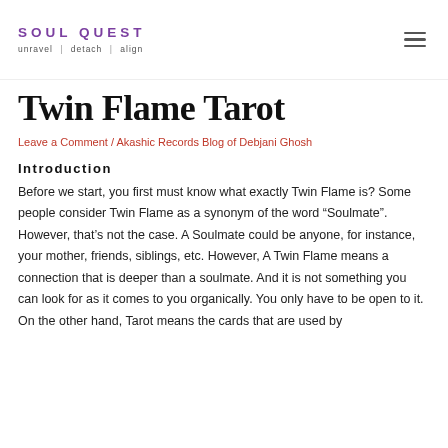SOUL QUEST unravel | detach | align
Twin Flame Tarot
Leave a Comment / Akashic Records Blog of Debjani Ghosh
Introduction
Before we start, you first must know what exactly Twin Flame is? Some people consider Twin Flame as a synonym of the word “Soulmate”. However, that’s not the case. A Soulmate could be anyone, for instance, your mother, friends, siblings, etc. However, A Twin Flame means a connection that is deeper than a soulmate. And it is not something you can look for as it comes to you organically. You only have to be open to it.
On the other hand, Tarot means the cards that are used by